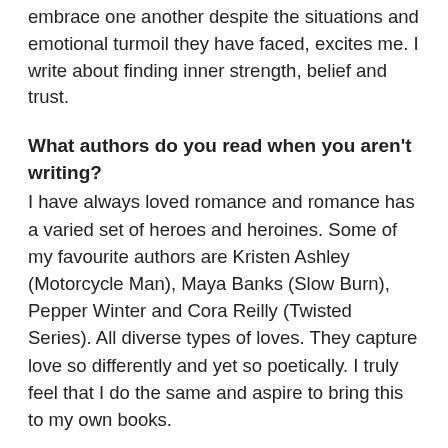embrace one another despite the situations and emotional turmoil they have faced, excites me. I write about finding inner strength, belief and trust.
What authors do you read when you aren't writing?
I have always loved romance and romance has a varied set of heroes and heroines. Some of my favourite authors are Kristen Ashley (Motorcycle Man), Maya Banks (Slow Burn), Pepper Winter and Cora Reilly (Twisted Series). All diverse types of loves. They capture love so differently and yet so poetically. I truly feel that I do the same and aspire to bring this to my own books.
Tell us about your writing process.
I had always...